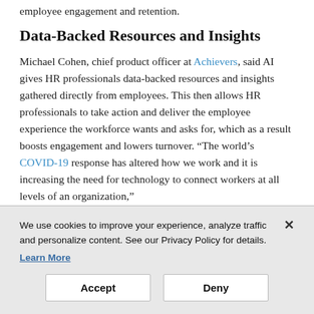employee engagement and retention.
Data-Backed Resources and Insights
Michael Cohen, chief product officer at Achievers, said AI gives HR professionals data-backed resources and insights gathered directly from employees. This then allows HR professionals to take action and deliver the employee experience the workforce wants and asks for, which as a result boosts engagement and lowers turnover. “The world’s COVID-19 response has altered how we work and it is increasing the need for technology to connect workers at all levels of an organization,”
We use cookies to improve your experience, analyze traffic and personalize content. See our Privacy Policy for details. Learn More
Accept
Deny